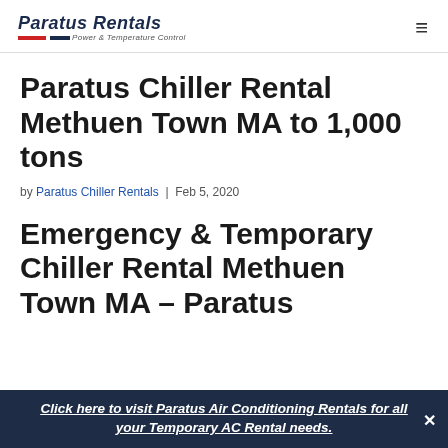Paratus Rentals Power & Temperature Control
Paratus Chiller Rental Methuen Town MA to 1,000 tons
by Paratus Chiller Rentals | Feb 5, 2020
Emergency & Temporary Chiller Rental Methuen Town MA – Paratus
Click here to visit Paratus Air Conditioning Rentals for all your Temporary AC Rental needs.